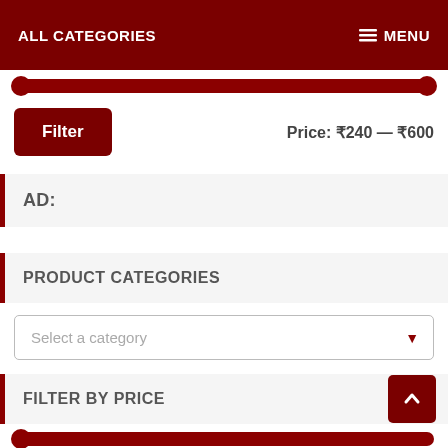ALL CATEGORIES   MENU
Filter   Price: ₹240 — ₹600
AD:
PRODUCT CATEGORIES
Select a category
FILTER BY PRICE